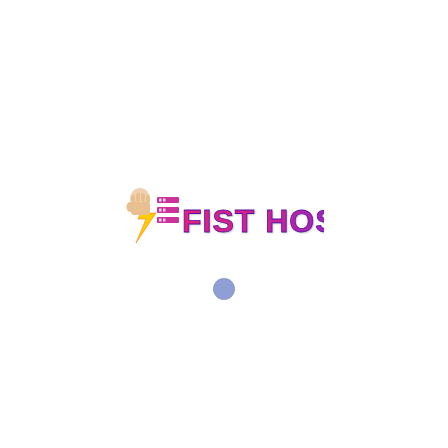[Figure (logo): FistHost logo: a raised fist with lightning bolt and server stacks icon on the left, followed by the text 'FIST HOST' in bold gradient letters from pink/magenta to purple]
[Figure (other): Small blue-gray loading dot below the logo, indicating a loading spinner]